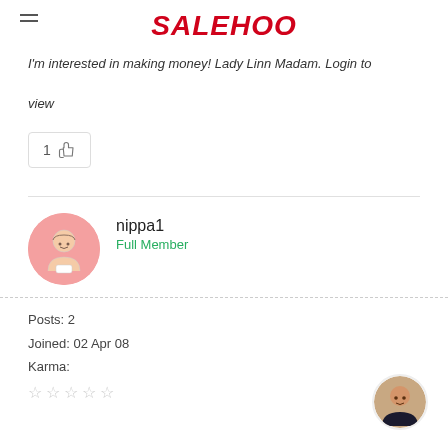SALEHOO
I'm interested in making money! Lady Linn Madam. Login to view
[Figure (other): Like button with count showing 1 thumbs up]
nippa1
Full Member
[Figure (illustration): User avatar: cartoon person with pink circular background]
Posts: 2
Joined: 02 Apr 08
Karma:
[Figure (other): 5 empty star rating icons]
[Figure (photo): Small circular photo of a woman with dark hair, assistant avatar, bottom right corner]